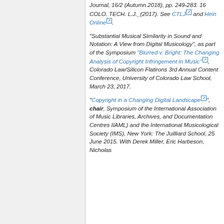Journal, 16/2 (Autumn 2018), pp. 249-283. 16 COLO. TECH. L.J._(2017). See CTLJ and Hein Online.
"Substantial Musical Similarity in Sound and Notation: A View from Digital Musicology", as part of the Symposium "Blurred v. Bright: The Changing Analysis of Copyright Infringement in Music", Colorado Law/Silicon Flatirons 3rd Annual Content Conference, University of Colorado Law School, March 23, 2017.
"Copyright in a Changing Digital Landscape", chair, Symposium of the International Association of Music Libraries, Archives, and Documentation Centres IIAML) and the International Musicological Society (IMS), New York: The Juilliard School, 25 June 2015. With Derek Miller, Eric Harbeson, Nicholas...